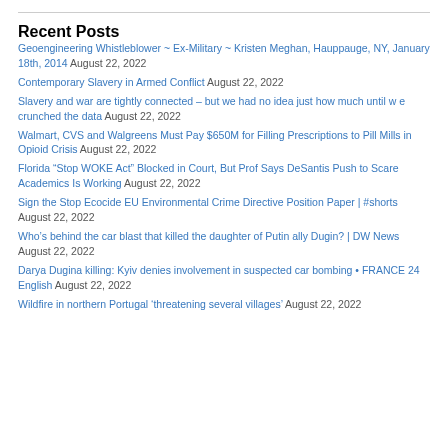Recent Posts
Geoengineering Whistleblower ~ Ex-Military ~ Kristen Meghan, Hauppauge, NY, January 18th, 2014 August 22, 2022
Contemporary Slavery in Armed Conflict August 22, 2022
Slavery and war are tightly connected – but we had no idea just how much until w e crunched the data August 22, 2022
Walmart, CVS and Walgreens Must Pay $650M for Filling Prescriptions to Pill Mills in Opioid Crisis August 22, 2022
Florida “Stop WOKE Act” Blocked in Court, But Prof Says DeSantis Push to Scare Academics Is Working August 22, 2022
Sign the Stop Ecocide EU Environmental Crime Directive Position Paper | #shorts August 22, 2022
Who’s behind the car blast that killed the daughter of Putin ally Dugin? | DW News August 22, 2022
Darya Dugina killing: Kyiv denies involvement in suspected car bombing • FRANCE 24 English August 22, 2022
Wildfire in northern Portugal ‘threatening several villages’ August 22, 2022